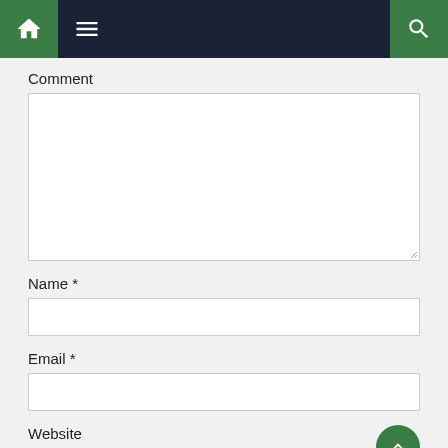[Figure (screenshot): Navigation bar with home icon (green background), hamburger menu icon (dark background), and search icon (green background) on the right]
Comment
[Figure (screenshot): Empty comment textarea input box]
Name *
[Figure (screenshot): Empty name text input box]
Email *
[Figure (screenshot): Empty email text input box]
Website
[Figure (screenshot): Back to top button (green circle with up arrow)]
[Figure (screenshot): Empty website text input box (partially visible)]